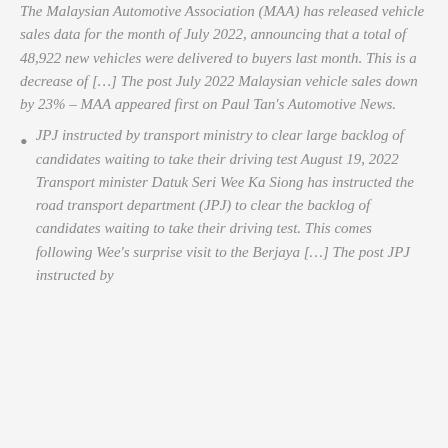The Malaysian Automotive Association (MAA) has released vehicle sales data for the month of July 2022, announcing that a total of 48,922 new vehicles were delivered to buyers last month. This is a decrease of […] The post July 2022 Malaysian vehicle sales down by 23% – MAA appeared first on Paul Tan's Automotive News.
JPJ instructed by transport ministry to clear large backlog of candidates waiting to take their driving test August 19, 2022 Transport minister Datuk Seri Wee Ka Siong has instructed the road transport department (JPJ) to clear the backlog of candidates waiting to take their driving test. This comes following Wee's surprise visit to the Berjaya […] The post JPJ instructed by